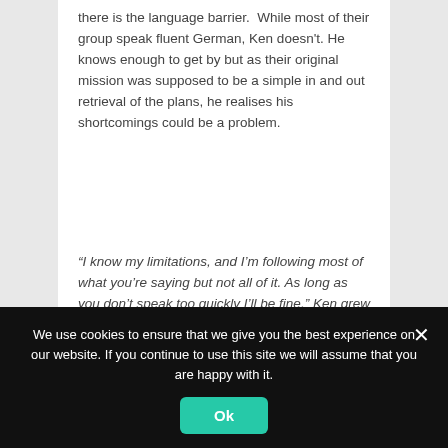there is the language barrier.  While most of their group speak fluent German, Ken doesn't. He knows enough to get by but as their original mission was supposed to be a simple in and out retrieval of the plans, he realises his shortcomings could be a problem.
“I know my limitations, and I’m following most of what you’re saying but not all of it. As long as you don’t speak too quickly I’ll be fine.” Ken grew quiet for a few minutes before continuing. “This was supposed to be a simple mission. We were to go in, get the plans, and get out. I didn’t expect to be in Germany for this amount of time. Matt would have handled most of the conversation with
We use cookies to ensure that we give you the best experience on our website. If you continue to use this site we will assume that you are happy with it.